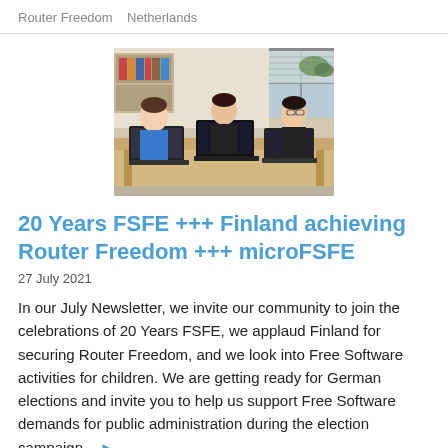Router Freedom   Netherlands
[Figure (photo): Three boys sitting at a table with laptops in a classroom or office setting]
20 Years FSFE +++ Finland achieving Router Freedom +++ microFSFE
27 July 2021
In our July Newsletter, we invite our community to join the celebrations of 20 Years FSFE, we applaud Finland for securing Router Freedom, and we look into Free Software activities for children. We are getting ready for German elections and invite you to help us support Free Software demands for public administration during the election campaign.
Newsletter